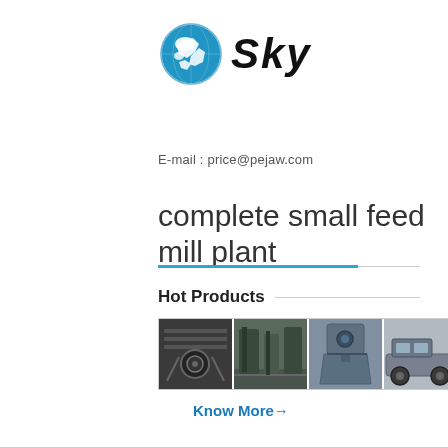[Figure (logo): SKY company logo with globe icon and handwritten SKY text]
E-mail : price@pejaw.com
complete small feed mill plant
[Figure (photo): Four product photos showing industrial machinery: vibrating screen, workshop machinery, crusher/mill, mobile equipment on truck]
Hot Products
Know More→